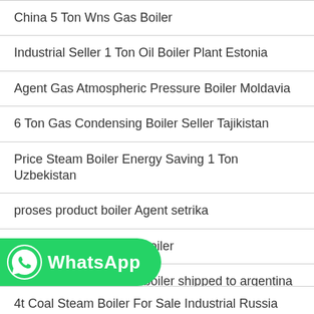China 5 Ton Wns Gas Boiler
Industrial Seller 1 Ton Oil Boiler Plant Estonia
Agent Gas Atmospheric Pressure Boiler Moldavia
6 Ton Gas Condensing Boiler Seller Tajikistan
Price Steam Boiler Energy Saving 1 Ton Uzbekistan
proses product boiler Agent setrika
Taiwan Electric Steam Boiler
50tons biomass steam boiler shipped to argentina
For Sale 10 Ton Oil Boiler Plant Georgia
[Figure (logo): WhatsApp green button with WhatsApp icon and text]
4t Coal Steam Boiler For Sale Industrial Russia